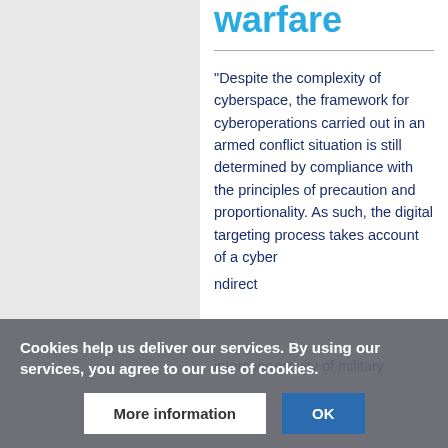methods of warfare
"Despite the complexity of cyberspace, the framework for cyberoperations carried out in an armed conflict situation is still determined by compliance with the principles of precaution and proportionality. As such, the digital targeting process takes account of a cyber
Cookies help us deliver our services. By using our services, you agree to our use of cookies.
More information   OK